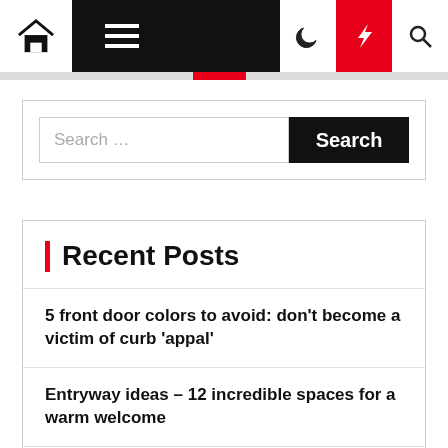Navigation bar with home, menu, moon, bolt, and search icons
[Figure (screenshot): Search bar with input field and Search button]
Recent Posts
5 front door colors to avoid: don't become a victim of curb 'appal'
Entryway ideas – 12 incredible spaces for a warm welcome
15 Gorgeous Bedroom Wallpaper Ideas From Interior Designers